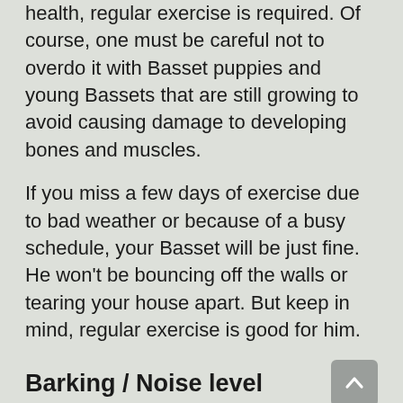health, regular exercise is required. Of course, one must be careful not to overdo it with Basset puppies and young Bassets that are still growing to avoid causing damage to developing bones and muscles.
If you miss a few days of exercise due to bad weather or because of a busy schedule, your Basset will be just fine. He won't be bouncing off the walls or tearing your house apart. But keep in mind, regular exercise is good for him.
Barking / Noise level
As is widely known, Bassets are well...